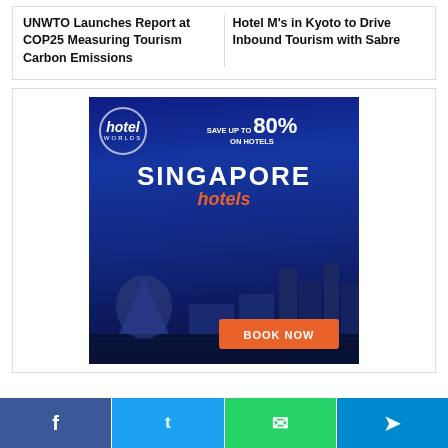UNWTO Launches Report at COP25 Measuring Tourism Carbon Emissions
Hotel M's in Kyoto to Drive Inbound Tourism with Sabre
[Figure (illustration): Hotel Worlds advertisement: Save up to 80% on hotels. Singapore hotels. Book Now button. Dark blue background with Singapore city skyline.]
Facebook | Twitter | WhatsApp | Telegram